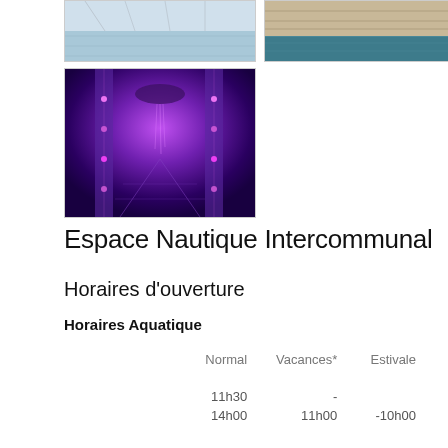[Figure (photo): Indoor swimming pool view from above, light blue water and lane dividers]
[Figure (photo): Indoor pool or spa area with wooden deck and teal water]
[Figure (photo): Spa/shower room with purple/violet lighting and mosaic tile walls]
Espace Nautique Intercommunal
Horaires d'ouverture
Horaires Aquatique
|  | Normal | Vacances* | Estivale |
| --- | --- | --- | --- |
|  | 11h30 | - |  |
|  | 14h00 | 11h00 | -10h00 |